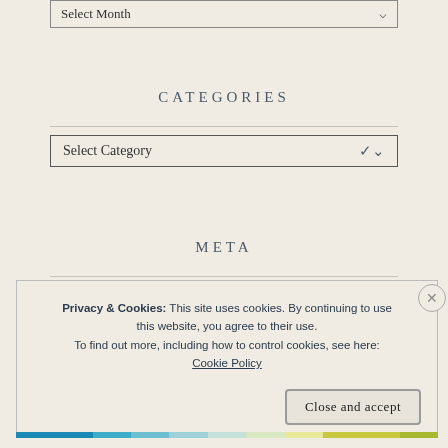Select Month
CATEGORIES
Select Category
META
Privacy & Cookies: This site uses cookies. By continuing to use this website, you agree to their use. To find out more, including how to control cookies, see here: Cookie Policy
Close and accept